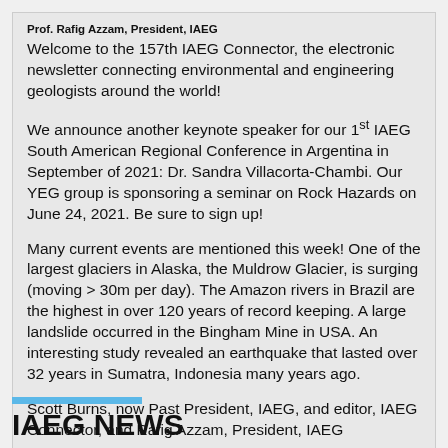Prof. Rafig Azzam, President, IAEG
Welcome to the 157th IAEG Connector, the electronic newsletter connecting environmental and engineering geologists around the world!
We announce another keynote speaker for our 1st IAEG South American Regional Conference in Argentina in September of 2021: Dr. Sandra Villacorta-Chambi. Our YEG group is sponsoring a seminar on Rock Hazards on June 24, 2021. Be sure to sign up!
Many current events are mentioned this week! One of the largest glaciers in Alaska, the Muldrow Glacier, is surging (moving > 30m per day). The Amazon rivers in Brazil are the highest in over 120 years of record keeping. A large landslide occurred in the Bingham Mine in USA. An interesting study revealed an earthquake that lasted over 32 years in Sumatra, Indonesia many years ago.
Scott Burns, now Past President, IAEG, and editor, IAEG Connector, and Rafig Azzam, President, IAEG
IAEG NEWS